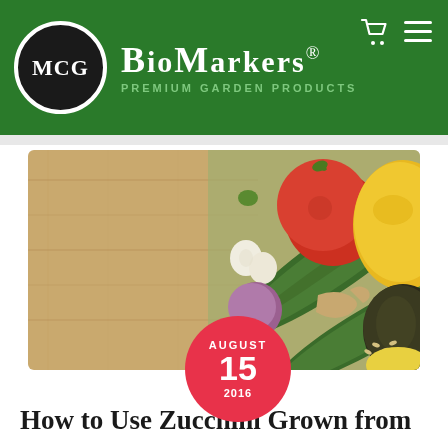MCG BioMarkers® Premium Garden Products
[Figure (photo): Overhead photo of vegetables on a wooden cutting board including zucchini, tomato, yellow bell pepper, garlic, shallot, avocado, ginger, and seeds]
AUGUST 15 2016
How to Use Zucchini Grown from